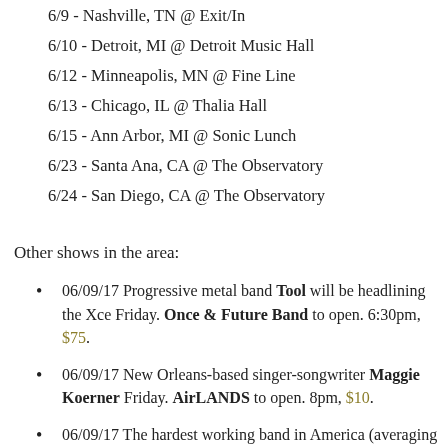6/9 - Nashville, TN @ Exit/In
6/10 - Detroit, MI @ Detroit Music Hall
6/12 - Minneapolis, MN @ Fine Line
6/13 - Chicago, IL @ Thalia Hall
6/15 - Ann Arbor, MI @ Sonic Lunch
6/23 - Santa Ana, CA @ The Observatory
6/24 - San Diego, CA @ The Observatory
Other shows in the area:
06/09/17 Progressive metal band Tool will be headlining the Xce Friday. Once & Future Band to open. 6:30pm, $75.
06/09/17 New Orleans-based singer-songwriter Maggie Koerner Friday. AirLANDS to open. 8pm, $10.
06/09/17 The hardest working band in America (averaging 250 sh will stop by the Icehouse. Generally, these shows start late because of the concerts at 11pm. New Sound Underground to open at the show...